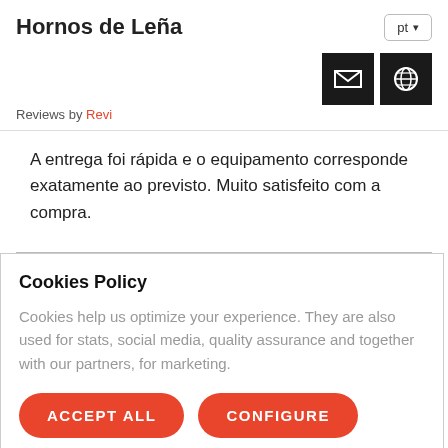Hornos de Leña
pt (language selector)
[Figure (other): Email icon (black box with white envelope) and globe/website icon (black box with white globe)]
Reviews by Revi
A entrega foi rápida e o equipamento corresponde exatamente ao previsto. Muito satisfeito com a compra.
Cookies Policy
Cookies help us optimize your experience. They are also used for stats, social media, quality assurance and together with our partners, for marketing.
ACCEPT ALL
CONFIGURE